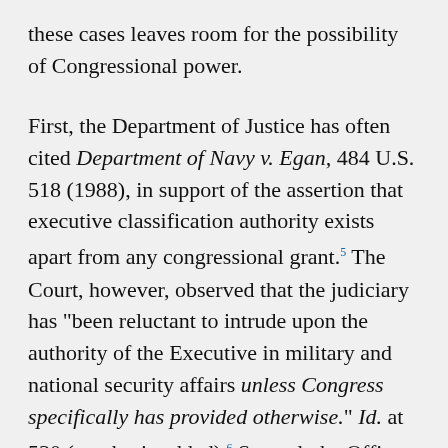these cases leaves room for the possibility of Congressional power.
First, the Department of Justice has often cited Department of Navy v. Egan, 484 U.S. 518 (1988), in support of the assertion that executive classification authority exists apart from any congressional grant.5 The Court, however, observed that the judiciary has "been reluctant to intrude upon the authority of the Executive in military and national security affairs unless Congress specifically has provided otherwise." Id. at 530 (emphasis added).6 Second, the Office of Legal Counsel to the CIA has relied on a decision in American Foreign Service Association. v. Garfinkel, 490 U.S. 153(1989), for the proposition that the President's power over national security